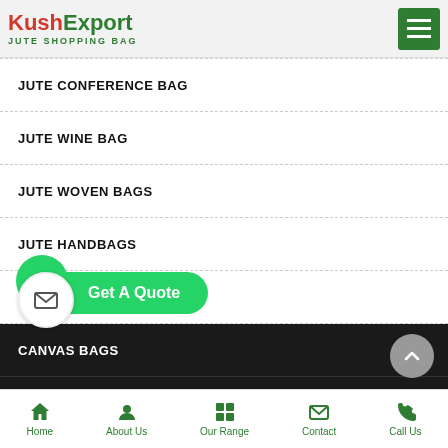Kush Export - JUTE SHOPPING BAG
JUTE CONFERENCE BAG
JUTE WINE BAG
JUTE WOVEN BAGS
JUTE HANDBAGS
JUTE COSMETIC BAGS
CANVAS BAGS
COTTON BAGS
PRINTED COTTON BAG
COTTON DRAWSTRING BAG
Home | About Us | Our Range | Contact | Call Us